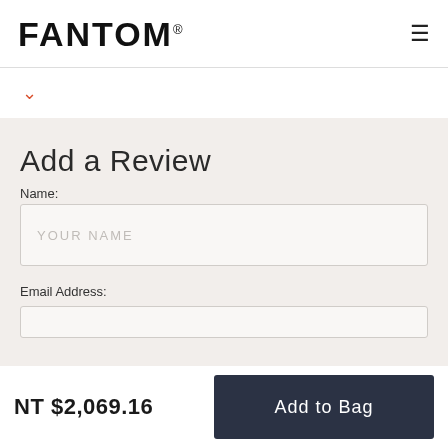FANTOM®
[Figure (other): Orange/red downward chevron icon]
Add a Review
Name:
YOUR NAME
Email Address:
NT $2,069.16
Add to Bag